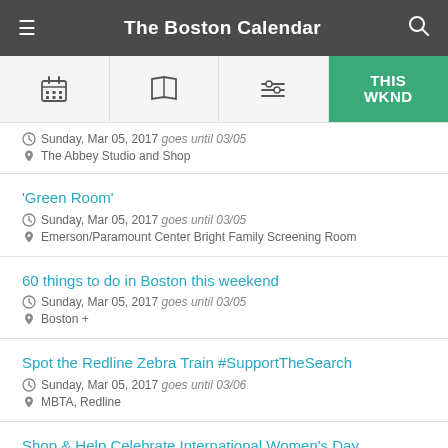The Boston Calendar
Sunday, Mar 05, 2017 goes until 03/05 | The Abbey Studio and Shop
'Green Room' | Sunday, Mar 05, 2017 goes until 03/05 | Emerson/Paramount Center Bright Family Screening Room
60 things to do in Boston this weekend | Sunday, Mar 05, 2017 goes until 03/05 | Boston +
Spot the Redline Zebra Train #SupportTheSearch | Sunday, Mar 05, 2017 goes until 03/06 | MBTA, Redline
Shop & Help Celebrate International Women's Day